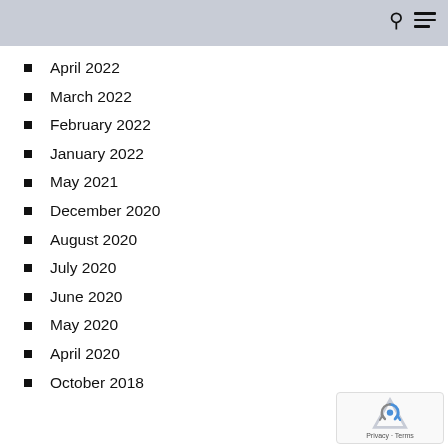April 2022
March 2022
February 2022
January 2022
May 2021
December 2020
August 2020
July 2020
June 2020
May 2020
April 2020
October 2018